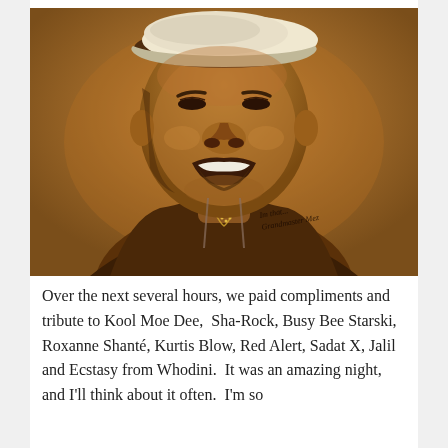[Figure (illustration): A sepia-toned pencil portrait drawing of a man wearing a baseball cap, smiling broadly, with a chain necklace visible. The drawing has a warm brown/tan background and appears to be a charcoal or pencil sketch. There is a handwritten signature in the lower right area of the image reading 'Im that... Grandmaster Mez' or similar cursive text.]
Over the next several hours, we paid compliments and tribute to Kool Moe Dee,  Sha-Rock, Busy Bee Starski, Roxanne Shanté, Kurtis Blow, Red Alert, Sadat X, Jalil and Ecstasy from Whodini.  It was an amazing night, and I'll think about it often.  I'm so